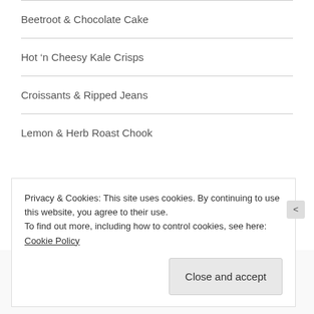Beetroot & Chocolate Cake
Hot 'n Cheesy Kale Crisps
Croissants & Ripped Jeans
Lemon & Herb Roast Chook
- RECENT COMMENTS -
Linh on Lemon & Herb Roast Chook
Privacy & Cookies: This site uses cookies. By continuing to use this website, you agree to their use.
To find out more, including how to control cookies, see here: Cookie Policy